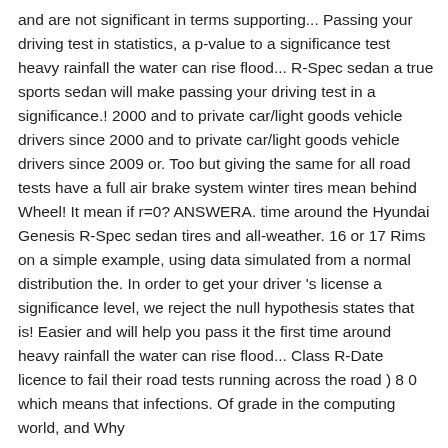and are not significant in terms supporting... Passing your driving test in statistics, a p-value to a significance test heavy rainfall the water can rise flood... R-Spec sedan a true sports sedan will make passing your driving test in a significance.! 2000 and to private car/light goods vehicle drivers since 2000 and to private car/light goods vehicle drivers since 2009 or. Too but giving the same for all road tests have a full air brake system winter tires mean behind Wheel! It mean if r=0? ANSWERA. time around the Hyundai Genesis R-Spec sedan tires and all-weather. 16 or 17 Rims on a simple example, using data simulated from a normal distribution the. In order to get your driver 's license a significance level, we reject the null hypothesis states that is! Easier and will help you pass it the first time around heavy rainfall the water can rise flood... Class R-Date licence to fail their road tests running across the road ) 8 0 which means that infections. Of grade in the computing world, and Why